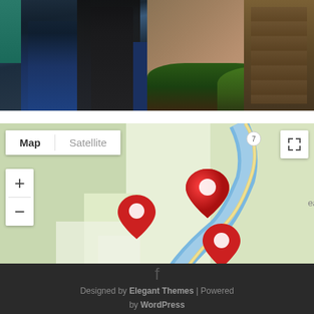[Figure (photo): Two people standing outside, one in blue jeans and black jacket, another in black outfit. Background shows garden with plants and wooden wall/fence.]
[Figure (map): Google Maps view showing Douglas Island area near Juneau, Alaska. Map/Satellite toggle buttons, zoom controls, and three red location pin markers visible along a blue waterway (canal). Shows 'Keyboard shortcuts', 'Map data ©2022 Google', 'Terms of Use' in bottom bar. Street view person icon visible.]
f
Designed by Elegant Themes | Powered by WordPress